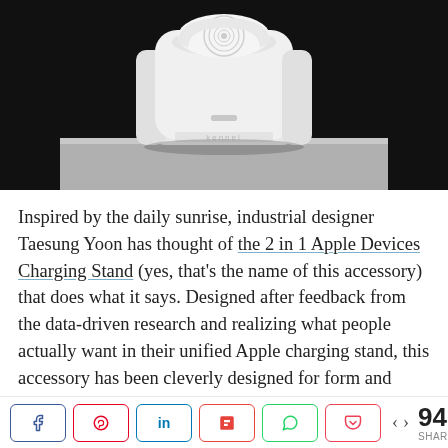[Figure (photo): Product photo of a white 2-in-1 Apple Devices Charging Stand on a dark background, showing a curved white dock with a circular charging puck area on top and a slot for iPhone, placed on a silver/gray platform.]
Inspired by the daily sunrise, industrial designer Taesung Yoon has thought of the 2 in 1 Apple Devices Charging Stand (yes, that's the name of this accessory) that does what it says. Designed after feedback from the data-driven research and realizing what people actually want in their unified Apple charging stand, this accessory has been cleverly designed for form and function. The charging stand's vertical stance with a slightly arched top means
[Figure (infographic): Social sharing bar with buttons for Facebook, Pinterest, LinkedIn, Flipboard, WhatsApp, Pocket, and a share count showing 946 SHARES]